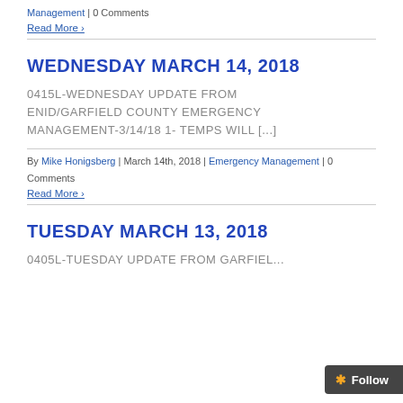Management | 0 Comments
Read More >
WEDNESDAY MARCH 14, 2018
0415L-WEDNESDAY UPDATE FROM ENID/GARFIELD COUNTY EMERGENCY MANAGEMENT-3/14/18 1- TEMPS WILL [...]
By Mike Honigsberg | March 14th, 2018 | Emergency Management | 0 Comments
Read More >
TUESDAY MARCH 13, 2018
0405L-TUESDAY UPDATE FROM GARFIEL...